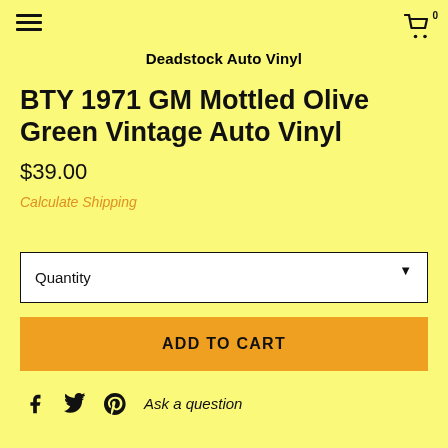Deadstock Auto Vinyl
BTY 1971 GM Mottled Olive Green Vintage Auto Vinyl
$39.00
Calculate Shipping
Quantity
ADD TO CART
Ask a question